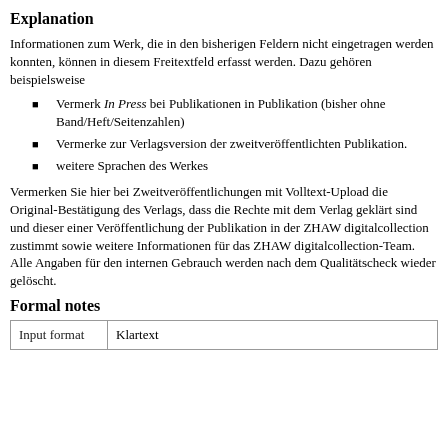Explanation
Informationen zum Werk, die in den bisherigen Feldern nicht eingetragen werden konnten, können in diesem Freitextfeld erfasst werden. Dazu gehören beispielsweise
Vermerk In Press bei Publikationen in Publikation (bisher ohne Band/Heft/Seitenzahlen)
Vermerke zur Verlagsversion der zweitveröffentlichten Publikation.
weitere Sprachen des Werkes
Vermerken Sie hier bei Zweitveröffentlichungen mit Volltext-Upload die Original-Bestätigung des Verlags, dass die Rechte mit dem Verlag geklärt sind und dieser einer Veröffentlichung der Publikation in der ZHAW digitalcollection zustimmt sowie weitere Informationen für das ZHAW digitalcollection-Team. Alle Angaben für den internen Gebrauch werden nach dem Qualitätscheck wieder gelöscht.
Formal notes
| Input format |  |
| --- | --- |
| Input format | Klartext |